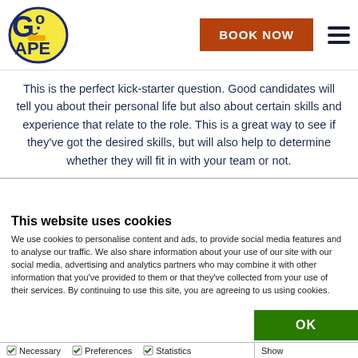[Figure (logo): Go Ape logo — stylized yellow letters G and O with an ape face, blue and yellow text reading GO APE]
BOOK NOW
This is the perfect kick-starter question. Good candidates will tell you about their personal life but also about certain skills and experience that relate to the role. This is a great way to see if they've got the desired skills, but will also help to determine whether they will fit in with your team or not.
This website uses cookies
We use cookies to personalise content and ads, to provide social media features and to analyse our traffic. We also share information about your use of our site with our social media, advertising and analytics partners who may combine it with other information that you've provided to them or that they've collected from your use of their services. By continuing to use this site, you are agreeing to us using cookies.
OK
Necessary   Preferences   Statistics   Show